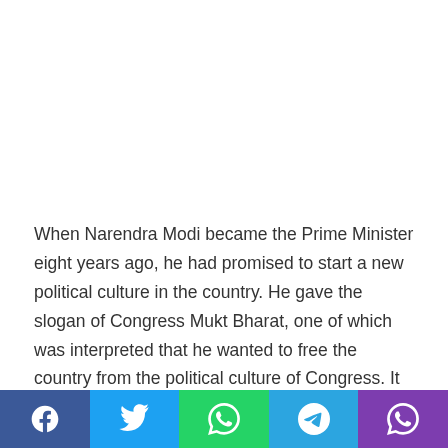When Narendra Modi became the Prime Minister eight years ago, he had promised to start a new political culture in the country. He gave the slogan of Congress Mukt Bharat, one of which was interpreted that he wanted to free the country from the political culture of Congress. It was a very pleasing slogan as no one would deny the fact that in the seven decades after independence, all political parties had adopted the work...